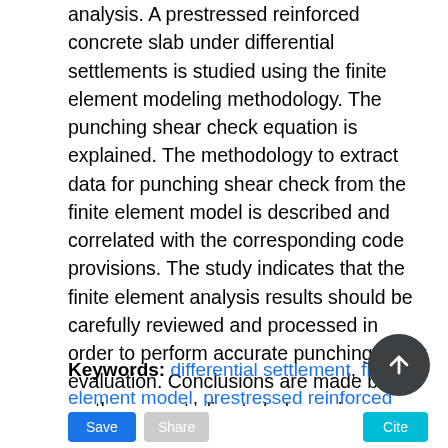analysis. A prestressed reinforced concrete slab under differential settlements is studied using the finite element modeling methodology. The punching shear check equation is explained. The methodology to extract data for punching shear check from the finite element model is described and correlated with the corresponding code provisions. The study indicates that the finite element analysis results should be carefully reviewed and processed in order to perform accurate punching shear evaluation. Conclusions are made based on the case studies to help engineers understand the punching shear behavior in prestressed and non-prestressed reinforced concrete slabs.
Keywords: differential settlement, finite element model, prestressed reinforced concrete slab, punching shear